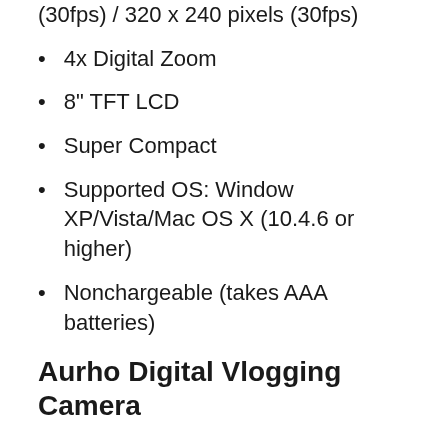(30fps) / 320 x 240 pixels (30fps)
4x Digital Zoom
8" TFT LCD
Super Compact
Supported OS: Window XP/Vista/Mac OS X (10.4.6 or higher)
Nonchargeable (takes AAA batteries)
Aurho Digital Vlogging Camera